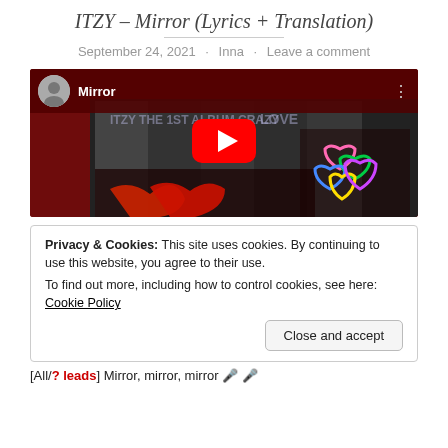ITZY – Mirror (Lyrics + Translation)
September 24, 2021 · Inna · Leave a comment
[Figure (screenshot): YouTube embedded video player showing ITZY Mirror music video thumbnail with play button, dark red background, channel avatar, and video title 'Mirror']
Privacy & Cookies: This site uses cookies. By continuing to use this website, you agree to their use.
To find out more, including how to control cookies, see here: Cookie Policy
Close and accept
[All/? leads] Mirror, mirror, mirror ?? ??